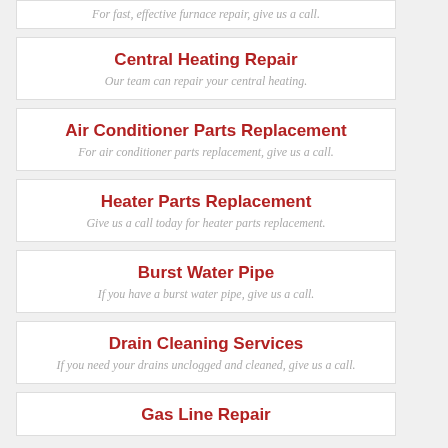For fast, effective furnace repair, give us a call.
Central Heating Repair
Our team can repair your central heating.
Air Conditioner Parts Replacement
For air conditioner parts replacement, give us a call.
Heater Parts Replacement
Give us a call today for heater parts replacement.
Burst Water Pipe
If you have a burst water pipe, give us a call.
Drain Cleaning Services
If you need your drains unclogged and cleaned, give us a call.
Gas Line Repair